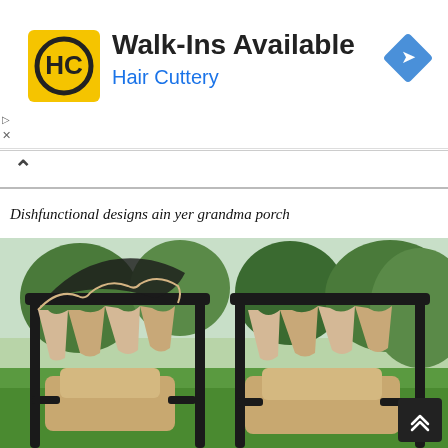[Figure (other): Advertisement banner for Hair Cuttery with yellow/black HC logo, text 'Walk-Ins Available' and 'Hair Cuttery' in blue, blue diamond navigation icon on the right]
Walk-Ins Available
Hair Cuttery
Dishfunctional designs ain yer grandma porch
[Figure (photo): Outdoor porch swing set with beige/tan cushioned seats and canopy, dark metal frame, photographed in a sunny green garden with trees in the background]